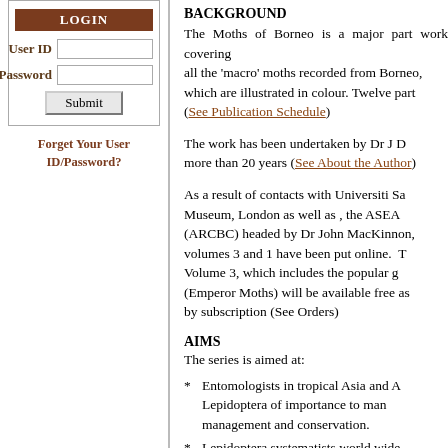[Figure (screenshot): Login form with User ID and Password fields, Submit button, and Forget Your User ID/Password link]
BACKGROUND
The Moths of Borneo is a major part work covering all the 'macro' moths recorded from Borneo, which are illustrated in colour. Twelve parts (See Publication Schedule)
The work has been undertaken by Dr J D... more than 20 years (See About the Author)
As a result of contacts with Universiti Sa... Museum, London as well as , the ASEA... (ARCBC) headed by Dr John MacKinnon, volumes 3 and 1 have been put online. T... Volume 3, which includes the popular g... (Emperor Moths) will be available free as... by subscription (See Orders)
AIMS
The series is aimed at:
Entomologists in tropical Asia and A... Lepidoptera of importance to man management and conservation.
Lepidoptera systematists world wide
Museums
University and school teachers in Sout...